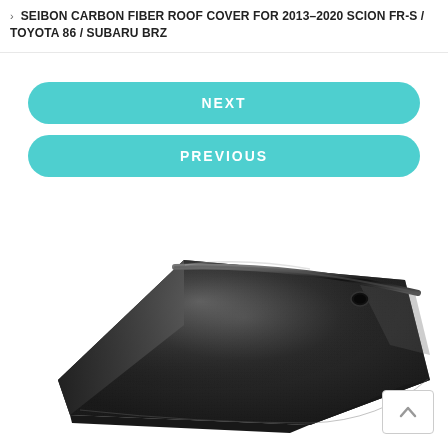> SEIBON CARBON FIBER ROOF COVER FOR 2013-2020 SCION FR-S / TOYOTA 86 / SUBARU BRZ
NEXT
PREVIOUS
[Figure (photo): Seibon carbon fiber roof cover panel shown in a 3/4 perspective view, glossy black carbon fiber weave texture, with a sunroof hole and a raised ridge line running across the top surface.]